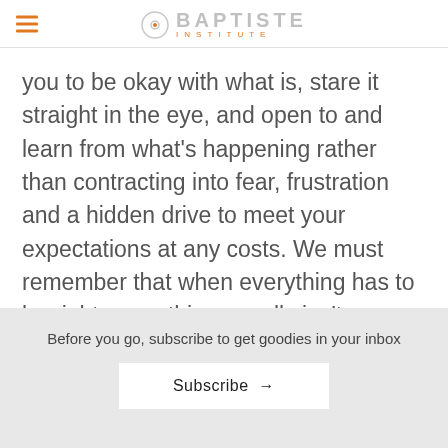BAPTISTE INSTITUTE
you to be okay with what is, stare it straight in the eye, and open to and learn from what’s happening rather than contracting into fear, frustration and a hidden drive to meet your expectations at any costs. We must remember that when everything has to be right, something usually isn’t.
Before you go, subscribe to get goodies in your inbox
Subscribe →